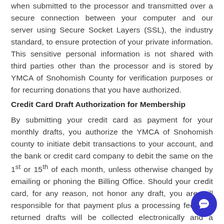when submitted to the processor and transmitted over a secure connection between your computer and our server using Secure Socket Layers (SSL), the industry standard, to ensure protection of your private information. This sensitive personal information is not shared with third parties other than the processor and is stored by YMCA of Snohomish County for verification purposes or for recurring donations that you have authorized.
Credit Card Draft Authorization for Membership
By submitting your credit card as payment for your monthly drafts, you authorize the YMCA of Snohomish county to initiate debit transactions to your account, and the bank or credit card company to debit the same on the 1st or 15th of each month, unless otherwise changed by emailing or phoning the Billing Office. Should your credit card, for any reason, not honor any draft, you are still responsible for that payment plus a processing fee. Any returned drafts will be collected electronically and a processing fee of $30 will be added